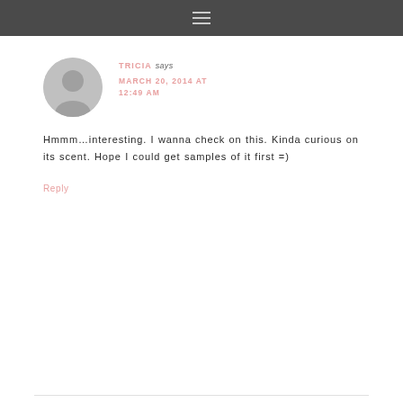≡
TRICIA says
MARCH 20, 2014 AT 12:49 AM
Hmmm…interesting. I wanna check on this. Kinda curious on its scent. Hope I could get samples of it first =)
Reply